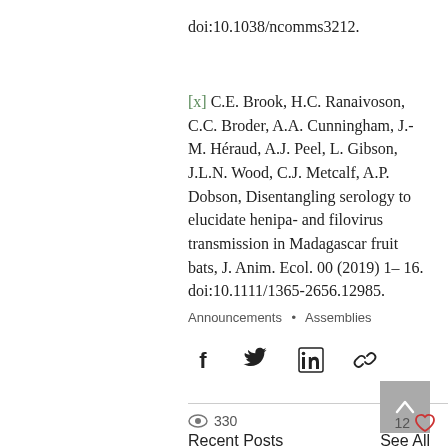doi:10.1038/ncomms3212.
[x] C.E. Brook, H.C. Ranaivoson, C.C. Broder, A.A. Cunningham, J.-M. Héraud, A.J. Peel, L. Gibson, J.L.N. Wood, C.J. Metcalf, A.P. Dobson, Disentangling serology to elucidate henipa- and filovirus transmission in Madagascar fruit bats, J. Anim. Ecol. 00 (2019) 1– 16. doi:10.1111/1365-2656.12985.
Announcements • Assemblies
[Figure (infographic): Social share icons: Facebook, Twitter, LinkedIn, link/copy icon]
330 views  12 likes
Recent Posts
See All